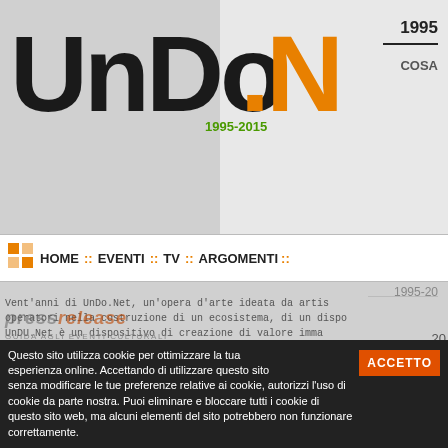[Figure (screenshot): Screenshot of UnDo.Net website showing logo, navigation bar with HOME, EVENTI, TV, ARGOMENTI links, and body text about Vent'anni di UnDo.Net article]
UnDo.Net
1995
COSA
HOME :: EVENTI :: TV :: ARGOMENTI ::
1995-20
pressrelease
GUIDA AGLI EVENTI CULTURALI
Vent'anni di UnDo.Net, un'opera d'arte ideata da artis
operatori nella costruzione di un ecosistema, di un dispo
UnDU.Net è un dispositivo di creazione di valore imma
contemporanea, come modello partecipativo che s
conoscenze, la collaborazione e lo scambio.
In questi 20 anni UnDo.Net ha perseguito il suo sco
esiste di sperimentare la ricerca, di confronto e
16/5/2014
Andrea Bruno
Questo sito utilizza cookie per ottimizzare la tua esperienza online. Accettando di utilizzare questo sito senza modificare le tue preferenze relative ai cookie, autorizzi l'uso di cookie da parte nostra. Puoi eliminare e bloccare tutti i cookie di questo sito web, ma alcuni elementi del sito potrebbero non funzionare correttamente.
ACCETTO